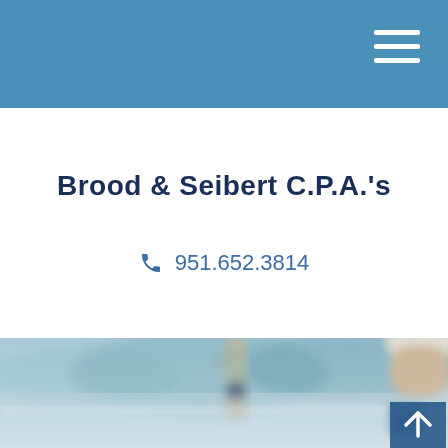[Figure (screenshot): Blue navigation bar at the top of a website]
Brood & Seibert C.P.A.'s
951.652.3814
[Figure (photo): Blurred outdoor photo showing a person fishing by a lake with mountains in the background, and another person holding a cup in the foreground]